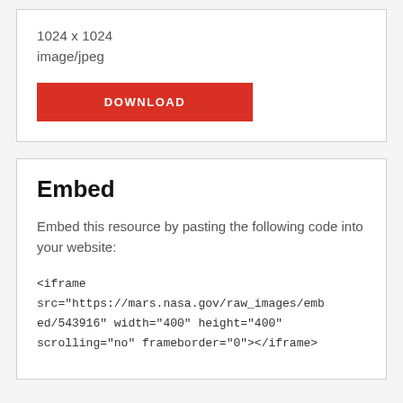1024 x 1024
image/jpeg
[Figure (other): Red DOWNLOAD button]
Embed
Embed this resource by pasting the following code into your website:
<iframe src="https://mars.nasa.gov/raw_images/embed/543916" width="400" height="400" scrolling="no" frameborder="0"></iframe>